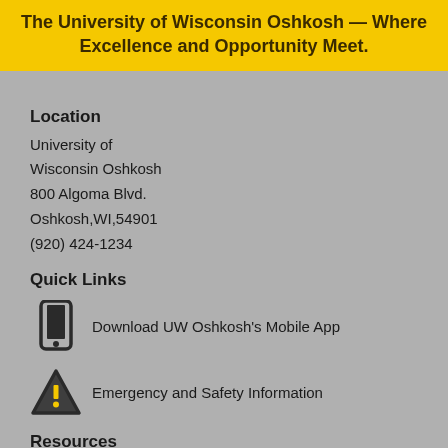The University of Wisconsin Oshkosh — Where Excellence and Opportunity Meet.
Location
University of
Wisconsin Oshkosh
800 Algoma Blvd.
Oshkosh,WI,54901
(920) 424-1234
Quick Links
Download UW Oshkosh's Mobile App
Emergency and Safety Information
Resources